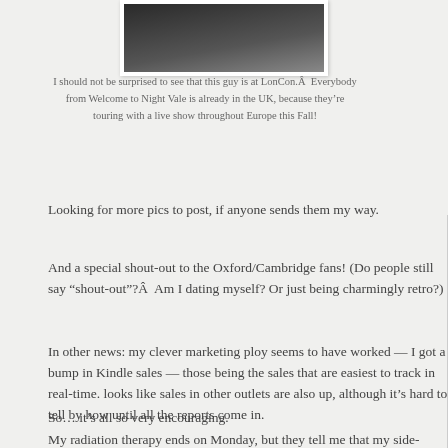[Figure (photo): Partial photo of a person, dark/shadowy image, cropped at top]
I should not be surprised to see that this guy is at LonCon.Â  Everybody from Welcome to Night Vale is already in the UK, because they’re touring with a live show throughout Europe this Fall!
Looking for more pics to post, if anyone sends them my way.
And a special shout-out to the Oxford/Cambridge fans! (Do people still say “shout-out”?Â  Am I dating myself? Or just being charmingly retro?)
In other news: my clever marketing ploy seems to have worked — I got a bump in Kindle sales — those being the sales that are easiest to track in real-time. Looks like sales in other outlets are also up, although it’s hard to tell by how much until all the reports come in.
So… it’s all so very encouraging.
My radiation therapy ends on Monday, but they tell me that my side-effects will actually get worse for a week or so, since they’re a delayed effect, and trailing off treatments.Â Â  I’ll just take it as easy as need be, whilst thinking deep tho…